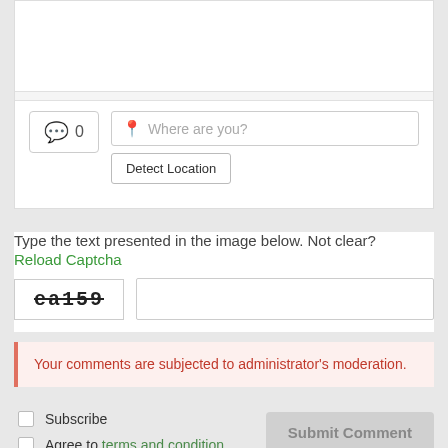[Figure (screenshot): Comment/location form area with a comment count button showing 0 and a speech bubble icon, plus a Where are you? location input field and a Detect Location button]
Type the text presented in the image below. Not clear?
Reload Captcha
[Figure (screenshot): CAPTCHA image showing text 'ea159' with strikethrough styling, next to a blank text input field]
Your comments are subjected to administrator's moderation.
Subscribe
Agree to terms and condition.
Submit Comment